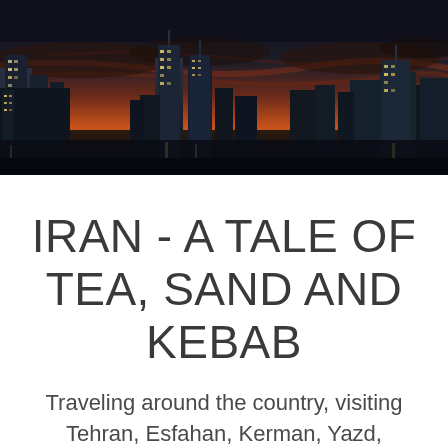[Figure (photo): Panoramic cityscape photo at dusk/sunset showing illuminated skyscrapers against a dramatic orange-red sky with dark clouds. City lights reflected below. Dark band at top.]
IRAN - A TALE OF TEA, SAND AND KEBAB
Traveling around the country, visiting Tehran, Esfahan, Kerman, Yazd,